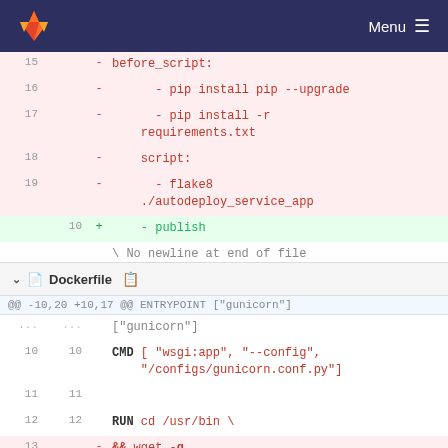[Figure (screenshot): GitLab navigation bar with orange fox logo and Menu button on dark blue background]
15  - before_script:
16  -   - pip install pip --upgrade
17  -   - pip install -r requirements.txt
18  -   script:
19  -   - flake8 ./autodeploy_service_app
10  +   - publish
    \ No newline at end of file
Dockerfile
@@ -10,20 +10,17 @@ ENTRYPOINT ["gunicorn"]
10 10  CMD [ "wsgi:app", "--config", "/configs/gunicorn.conf.py"]
11 11
12 12  RUN cd /usr/bin \
13     -  && wget -q https://storage.googleapis.com/kubernetes-